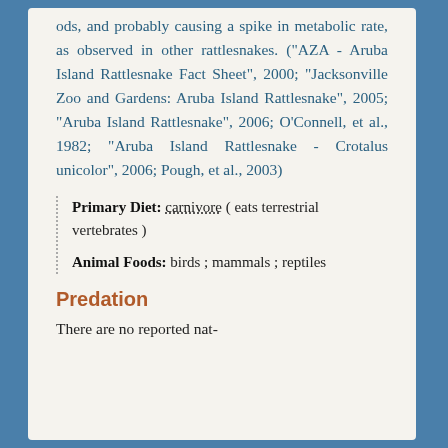ods, and probably causing a spike in metabolic rate, as observed in other rattlesnakes. ("AZA - Aruba Island Rattlesnake Fact Sheet", 2000; "Jacksonville Zoo and Gardens: Aruba Island Rattlesnake", 2005; "Aruba Island Rattlesnake", 2006; O'Connell, et al., 1982; "Aruba Island Rattlesnake - Crotalus unicolor", 2006; Pough, et al., 2003)
Primary Diet: carnivore ( eats terrestrial vertebrates )
Animal Foods: birds ; mammals ; reptiles
Predation
There are no reported nat-